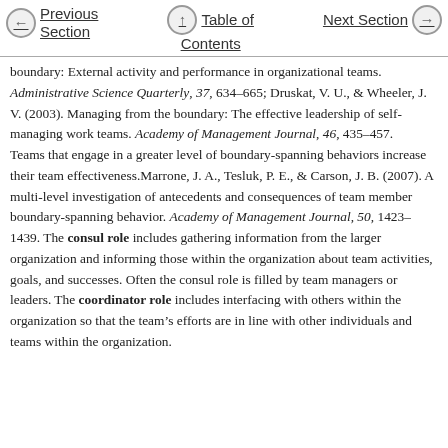Previous Section | Table of Contents | Next Section
boundary: External activity and performance in organizational teams. Administrative Science Quarterly, 37, 634–665; Druskat, V. U., & Wheeler, J. V. (2003). Managing from the boundary: The effective leadership of self-managing work teams. Academy of Management Journal, 46, 435–457. Teams that engage in a greater level of boundary-spanning behaviors increase their team effectiveness.Marrone, J. A., Tesluk, P. E., & Carson, J. B. (2007). A multi-level investigation of antecedents and consequences of team member boundary-spanning behavior. Academy of Management Journal, 50, 1423–1439. The consul role includes gathering information from the larger organization and informing those within the organization about team activities, goals, and successes. Often the consul role is filled by team managers or leaders. The coordinator role includes interfacing with others within the organization so that the team's efforts are in line with other individuals and teams within the organization.